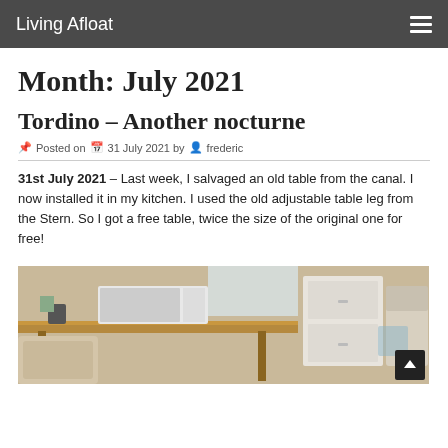Living Afloat
Month: July 2021
Tordino – Another nocturne
Posted on 31 July 2021 by frederic
31st July 2021 – Last week, I salvaged an old table from the canal. I now installed it in my kitchen. I used the old adjustable table leg from the Stern. So I got a free table, twice the size of the original one for free!
[Figure (photo): Kitchen interior of a boat showing a table with a microwave on top, cushioned seating, white drawers/cabinet, and a chair.]